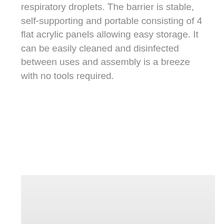respiratory droplets. The barrier is stable, self-supporting and portable consisting of 4 flat acrylic panels allowing easy storage. It can be easily cleaned and disinfected between uses and assembly is a breeze with no tools required.
Continue Reading
[Figure (photo): Partially visible image at the bottom of the page showing a light gray background, likely a product photo.]